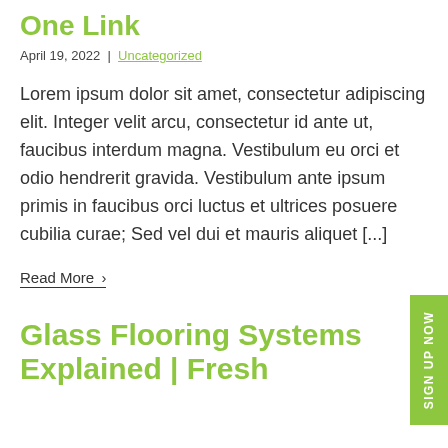One Link
April 19, 2022 | Uncategorized
Lorem ipsum dolor sit amet, consectetur adipiscing elit. Integer velit arcu, consectetur id ante ut, faucibus interdum magna. Vestibulum eu orci et odio hendrerit gravida. Vestibulum ante ipsum primis in faucibus orci luctus et ultrices posuere cubilia curae; Sed vel dui et mauris aliquet [...]
Read More ›
Glass Flooring Systems Explained | Fresh